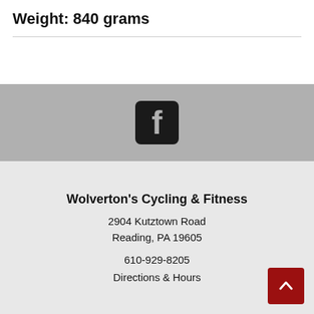Weight: 840 grams
[Figure (logo): Facebook logo icon — white 'f' on black rounded square background]
Wolverton's Cycling & Fitness
2904 Kutztown Road
Reading, PA 19605
610-929-8205
Directions & Hours